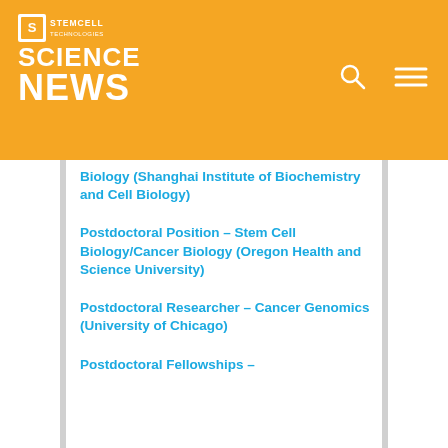STEMCELL SCIENCE NEWS
Biology (Shanghai Institute of Biochemistry and Cell Biology)
Postdoctoral Position – Stem Cell Biology/Cancer Biology (Oregon Health and Science University)
Postdoctoral Researcher – Cancer Genomics (University of Chicago)
Postdoctoral Fellowships –